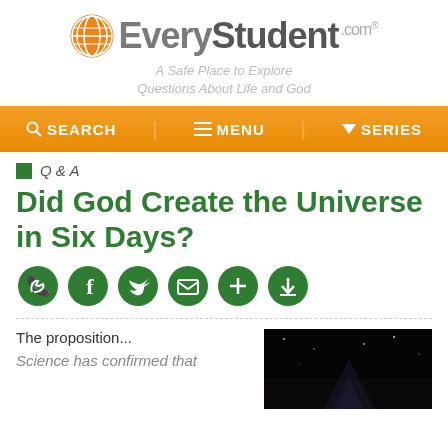[Figure (logo): EveryStudent.com logo with orange globe icon and gray/dark text, tagline 'A Safe Place to Explore Questions About Life and God']
SEARCH  MENU  SERIES
Q & A
Did God Create the Universe in Six Days?
[Figure (infographic): Row of six green circular social sharing icons: WhatsApp, Facebook, Twitter, Email/envelope, Add/plus, Download/arrow]
The proposition...
Science has confirmed that
[Figure (photo): Dark image of what appears to be a night sky or space scene]